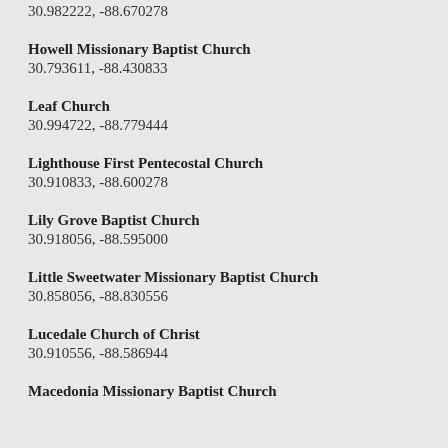30.982222, -88.670278
Howell Missionary Baptist Church
30.793611, -88.430833
Leaf Church
30.994722, -88.779444
Lighthouse First Pentecostal Church
30.910833, -88.600278
Lily Grove Baptist Church
30.918056, -88.595000
Little Sweetwater Missionary Baptist Church
30.858056, -88.830556
Lucedale Church of Christ
30.910556, -88.586944
Macedonia Missionary Baptist Church